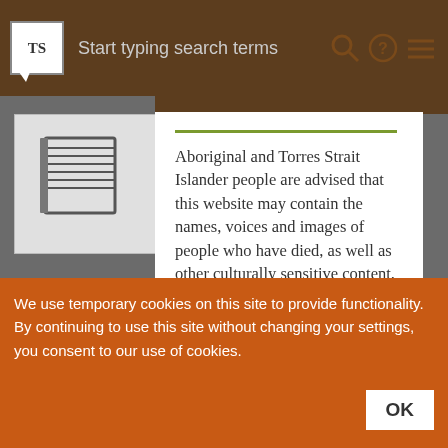Start typing search terms
Aboriginal and Torres Strait Islander people are advised that this website may contain the names, voices and images of people who have died, as well as other culturally sensitive content. Please be aware that some collection items may use outdated phrases or words which reflect the attitude of the creator at the time, and are now considered offensive.
We use temporary cookies on this site to provide functionality.
By continuing to use this site without changing your settings, you consent to our use of cookies.